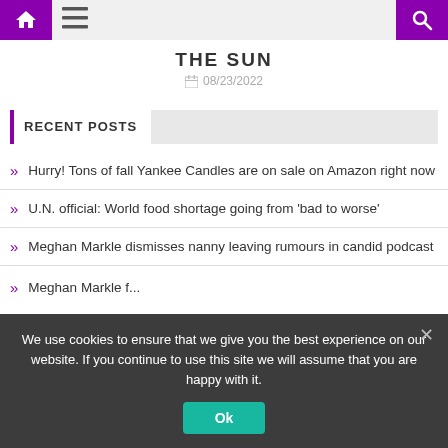THE SUN — 08/23/2022
RECENT POSTS
Hurry! Tons of fall Yankee Candles are on sale on Amazon right now
U.N. official: World food shortage going from 'bad to worse'
Meghan Markle dismisses nanny leaving rumours in candid podcast
Meghan Markle f... [partially visible]
We use cookies to ensure that we give you the best experience on our website. If you continue to use this site we will assume that you are happy with it.